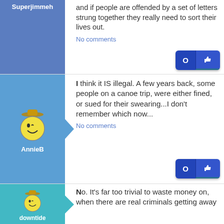and if people are offended by a set of letters strung together they really need to sort their lives out.
No comments
Superjimmeh
I think it IS illegal. A few years back, some people on a canoe trip, were either fined, or sued for their swearing...I don't remember which now...
No comments
AnnieB
No. It's far too trivial to waste money on, when there are real criminals getting away
downtide